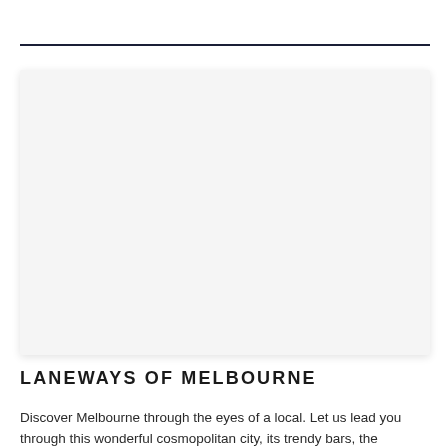[Figure (photo): A large blank/white rectangular photo placeholder with a light shadow, representing a photo of the laneways of Melbourne.]
LANEWAYS OF MELBOURNE
Discover Melbourne through the eyes of a local. Let us lead you through this wonderful cosmopolitan city, its trendy bars, the